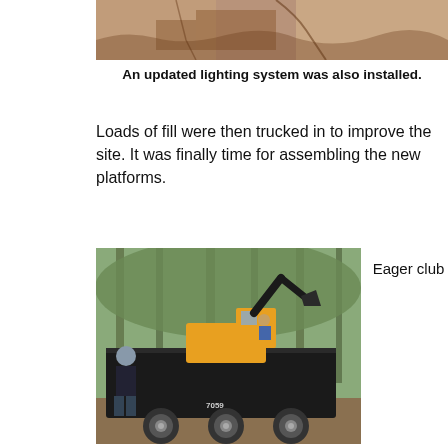[Figure (photo): Close-up photo of brown/tan soil or rock surface]
An updated lighting system was also installed.
Loads of fill were then trucked in to improve the site. It was finally time for assembling the new platforms.
[Figure (photo): Yellow excavator/mini excavator on a black dump trailer in a wooded area, with a person in a grey hat standing nearby watching]
Eager club